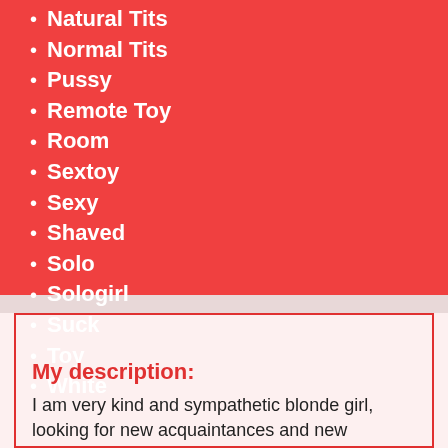Natural Tits
Normal Tits
Pussy
Remote Toy
Room
Sextoy
Sexy
Shaved
Solo
Sologirl
Suck
Toy
White
My description:
I am very kind and sympathetic blonde girl, looking for new acquaintances and new sensations)